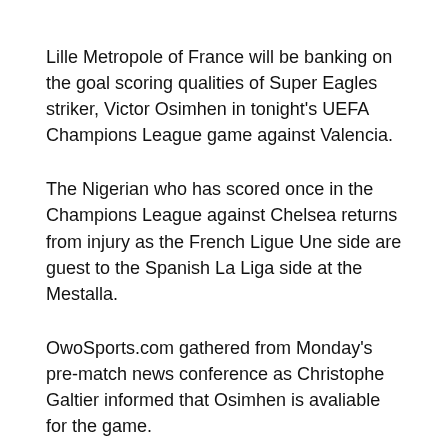Lille Metropole of France will be banking on the goal scoring qualities of Super Eagles striker, Victor Osimhen in tonight's UEFA Champions League game against Valencia.
The Nigerian who has scored once in the Champions League against Chelsea returns from injury as the French Ligue Une side are guest to the Spanish La Liga side at the Mestalla.
OwoSports.com gathered from Monday's pre-match news conference as Christophe Galtier informed that Osimhen is avaliable for the game.
Galtier confirmed, “Osimhen and Fonte are fit but Timothy Weah is still out.”
Lille who are desperate for a win as the Champions League